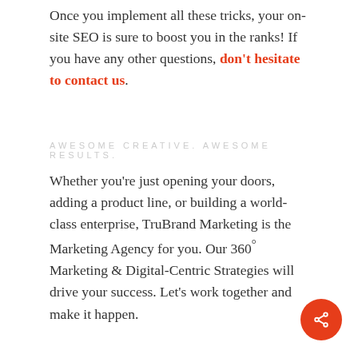Once you implement all these tricks, your on-site SEO is sure to boost you in the ranks! If you have any other questions, don't hesitate to contact us.
AWESOME CREATIVE. AWESOME RESULTS.
Whether you're just opening your doors, adding a product line, or building a world-class enterprise, TruBrand Marketing is the Marketing Agency for you. Our 360° Marketing & Digital-Centric Strategies will drive your success. Let's work together and make it happen.
[Figure (other): Orange circular share/social button with share icon in white]